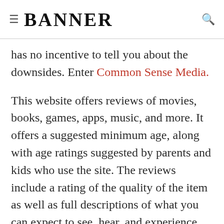≡ BANNER 🔍
has no incentive to tell you about the downsides. Enter Common Sense Media.
This website offers reviews of movies, books, games, apps, music, and more. It offers a suggested minimum age, along with age ratings suggested by parents and kids who use the site. The reviews include a rating of the quality of the item as well as full descriptions of what you can expect to see, hear, and experience. These are helpful when making the decision. There are even a few questions at the end to encourage